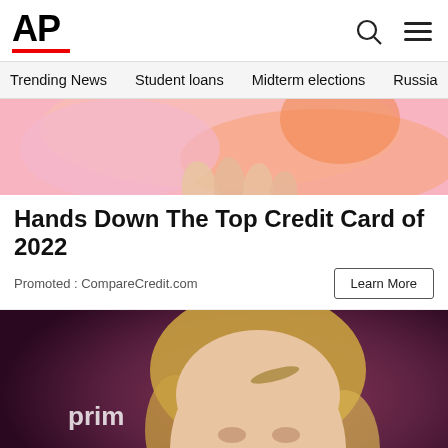AP
Trending News
Student loans
Midterm elections
Russia-Ukr
[Figure (photo): Partial pink/orange background image, top of ad unit]
Hands Down The Top Credit Card of 2022
Promoted : CompareCredit.com
[Figure (photo): Smiling blonde woman at a Prime Video event, dark purple/maroon background, accessibility icon overlay in bottom left]